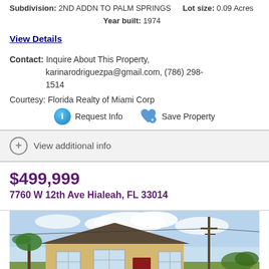Subdivision: 2ND ADDN TO PALM SPRINGS  Lot size: 0.09 Acres  Year built: 1974
View Details
Contact: Inquire About This Property, karinarodriguezpa@gmail.com, (786) 298-1514
Courtesy: Florida Realty of Miami Corp
Request Info   Save Property
View additional info
$499,999
7760 W 12th Ave Hialeah, FL 33014
[Figure (photo): Exterior photo of a single-story residential home in Hialeah, FL. Yellow/beige stucco house with white window frames, a red front door, utility poles visible, and tropical landscaping.]